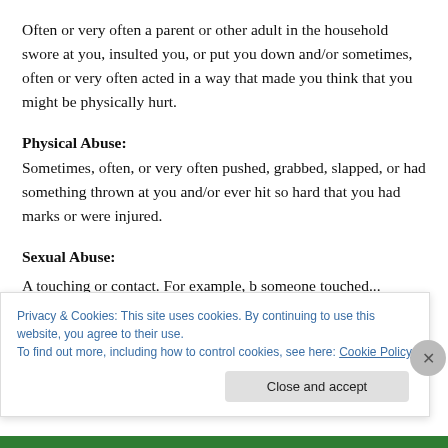Often or very often a parent or other adult in the household swore at you, insulted you, or put you down and/or sometimes, often or very often acted in a way that made you think that you might be physically hurt.
Physical Abuse:
Sometimes, often, or very often pushed, grabbed, slapped, or had something thrown at you and/or ever hit so hard that you had marks or were injured.
Sexual Abuse:
A touching or contact. For example, someone touched...
Privacy & Cookies: This site uses cookies. By continuing to use this website, you agree to their use.
To find out more, including how to control cookies, see here: Cookie Policy